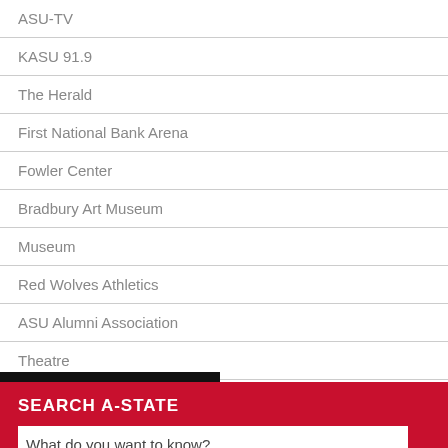ASU-TV
KASU 91.9
The Herald
First National Bank Arena
Fowler Center
Bradbury Art Museum
Museum
Red Wolves Athletics
ASU Alumni Association
Theatre
SEARCH A-STATE
What do you want to know?
Get the answer »
CONTACT UNIVERSITY COMMUNICATIONS